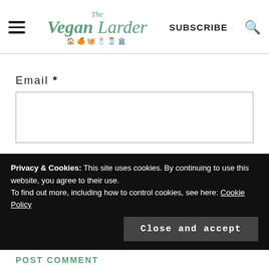The Vegan Larder — SUBSCRIBE
Email *
Notify me of follow-up comments by email.
Privacy & Cookies: This site uses cookies. By continuing to use this website, you agree to their use. To find out more, including how to control cookies, see here: Cookie Policy
Close and accept
POST COMMENT